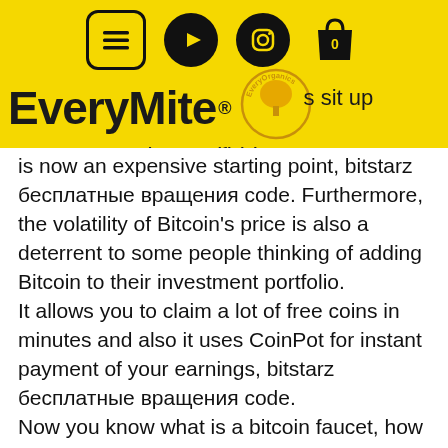[Figure (logo): EveryMite website header with navigation icons (menu, YouTube, Instagram, shopping bag), EveryMite logo with EveryOrganics tree emblem, and tagline '100% Organic. 0% Artificial.']
is now an expensive starting point, bitstarz бесплатные вращения code. Furthermore, the volatility of Bitcoin's price is also a deterrent to some people thinking of adding Bitcoin to their investment portfolio.
It allows you to claim a lot of free coins in minutes and also it uses CoinPot for instant payment of your earnings, bitstarz бесплатные вращения code.
Now you know what is a bitcoin faucet, how to earn from a faucet. It's time to find out what are the best highest paying bitcoin and crypto faucets. After several months of testing and reading user reviews, I came up